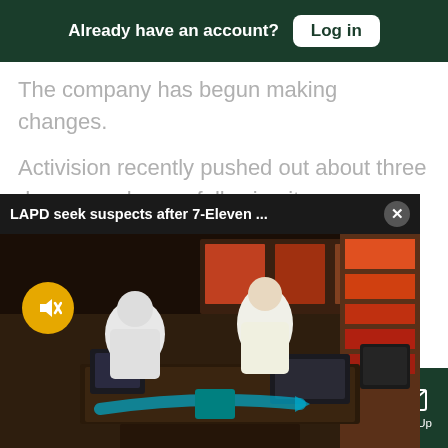Already have an account? Log in
The company has begun making changes.
Activision recently pushed out about three dozen employees following its own investigation and said it made high-level personnel changes and increased its investment in anti-harassment and anti-discrimination
[Figure (screenshot): LAPD seek suspects after 7-Eleven popup video overlay showing CCTV footage of a convenience store interior with suspects at the counter. A mute button (yellow circle with speaker icon) is visible. A dark header shows the title and a close (X) button.]
orkplace see the company's — and will continue
Sections  NY Edition  Philly  Games  Advertise  Sign Up